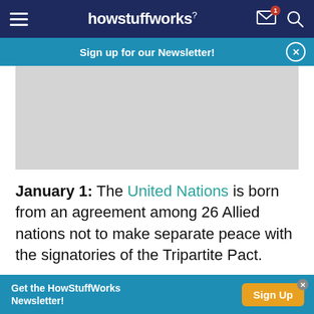howstuffworks
Sign up for our Newsletter!
[Figure (photo): Gray image placeholder area]
January 1: The United Nations is born from an agreement among 26 Allied nations not to make separate peace with the signatories of the Tripartite Pact.
Auto dealerships across the United States close
Get the HowStuffWorks Newsletter! Sign Up